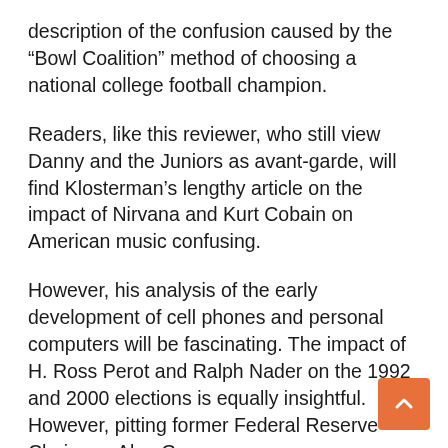description of the confusion caused by the “Bowl Coalition” method of choosing a national college football champion.
Readers, like this reviewer, who still view Danny and the Juniors as avant-garde, will find Klosterman’s lengthy article on the impact of Nirvana and Kurt Cobain on American music confusing.
However, his analysis of the early development of cell phones and personal computers will be fascinating. The impact of H. Ross Perot and Ralph Nader on the 1992 and 2000 elections is equally insightful. However, pitting former Federal Reserve Chairman Alan Greenspan